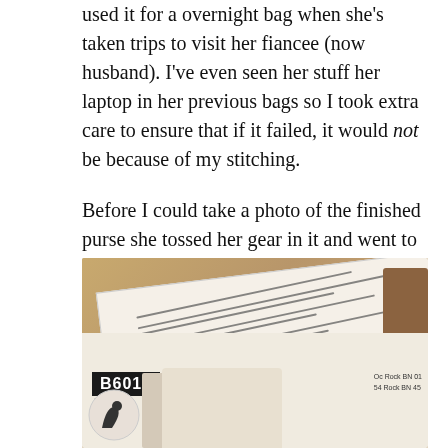used it for a overnight bag when she's taken trips to visit her fiancee (now husband). I've even seen her stuff her laptop in her previous bags so I took extra care to ensure that if it failed, it would not be because of my stitching.
Before I could take a photo of the finished purse she tossed her gear in it and went to work. I do have a photo of the pattern however:
[Figure (photo): Photo of a sewing pattern envelope showing number B6011 with pattern pieces and instructions visible on paper sheets in the background]